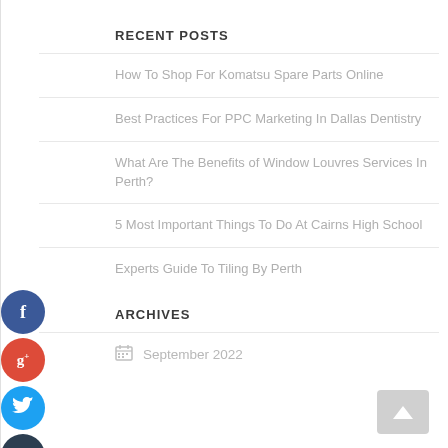RECENT POSTS
How To Shop For Komatsu Spare Parts Online
Best Practices For PPC Marketing In Dallas Dentistry
What Are The Benefits of Window Louvres Services In Perth?
5 Most Important Things To Do At Cairns High School
Experts Guide To Tiling By Perth
ARCHIVES
September 2022